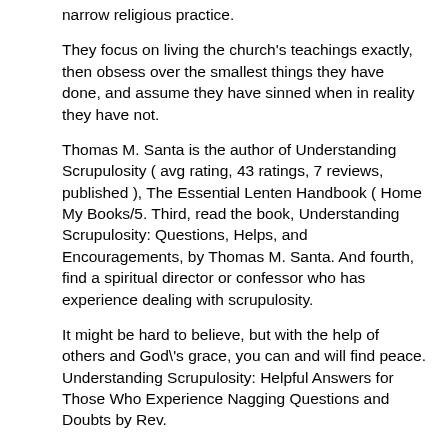narrow religious practice.
They focus on living the church's teachings exactly, then obsess over the smallest things they have done, and assume they have sinned when in reality they have not.
Thomas M. Santa is the author of Understanding Scrupulosity ( avg rating, 43 ratings, 7 reviews, published ), The Essential Lenten Handbook ( Home My Books/5. Third, read the book, Understanding Scrupulosity: Questions, Helps, and Encouragements, by Thomas M. Santa. And fourth, find a spiritual director or confessor who has experience dealing with scrupulosity.
It might be hard to believe, but with the help of others and God\'s grace, you can and will find peace. Understanding Scrupulosity: Helpful Answers for Those Who Experience Nagging Questions and Doubts by Rev.
Thomas Santa R. | out of 5 stars 8. Understanding Scrupulosity: 3rd Edition of Questions and Encouragement | CSsR, Fr. Thomas M. Santa | download | B–OK. Download books for free. Find